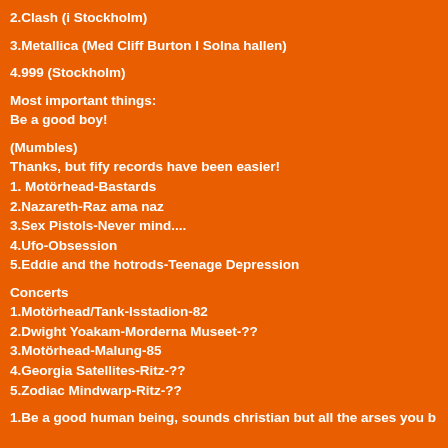2.Clash (i Stockholm)
3.Metallica (Med Cliff Burton I Solna hallen)
4.999 (Stockholm)
Most important things:
Be a good boy!
(Mumbles)
Thanks, but fify records have been easier!
1. Motörhead-Bastards
2.Nazareth-Raz ama naz
3.Sex Pistols-Never mind....
4.Ufo-Obsession
5.Eddie and the hotrods-Teenage Depression
Concerts
1.Motörhead/Tank-Isstadion-82
2.Dwight Yoakam-Morderna Museet-??
3.Motörhead-Malung-85
4.Georgia Satellites-Ritz-??
5.Zodiac Mindwarp-Ritz-??
1.Be a good human being, sounds christian but all the arses you b